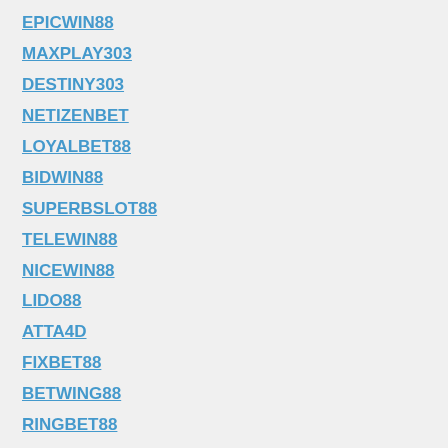EPICWIN88
MAXPLAY303
DESTINY303
NETIZENBET
LOYALBET88
BIDWIN88
SUPERBSLOT88
TELEWIN88
NICEWIN88
LIDO88
ATTA4D
FIXBET88
BETWING88
RINGBET88
SURGAWIN
SLOTUP88
SINS88